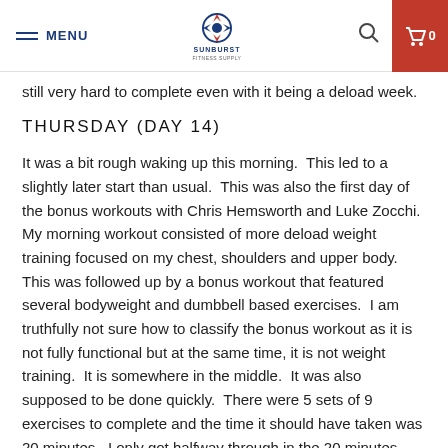MENU | SUNBURST FITNESS SUPPLY | Search | Cart 0
still very hard to complete even with it being a deload week.
THURSDAY (DAY 14)
It was a bit rough waking up this morning.  This led to a slightly later start than usual.  This was also the first day of the bonus workouts with Chris Hemsworth and Luke Zocchi.  My morning workout consisted of more deload weight training focused on my chest, shoulders and upper body.  This was followed up by a bonus workout that featured several bodyweight and dumbbell based exercises.  I am truthfully not sure how to classify the bonus workout as it is not fully functional but at the same time, it is not weight training.  It is somewhere in the middle.  It was also supposed to be done quickly.  There were 5 sets of 9 exercises to complete and the time it should have taken was 20 minutes.  I only got halfway through in the 20 minutes before having to stop and get my son ready for school.
Dinner was leftover Swedish meatballs which were just as good